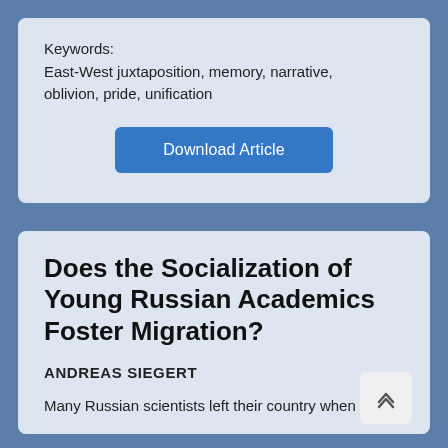Keywords:
East-West juxtaposition, memory, narrative, oblivion, pride, unification
[Figure (other): Blue 'Download Article' button]
Does the Socialization of Young Russian Academics Foster Migration?
ANDREAS SIEGERT
Many Russian scientists left their country when